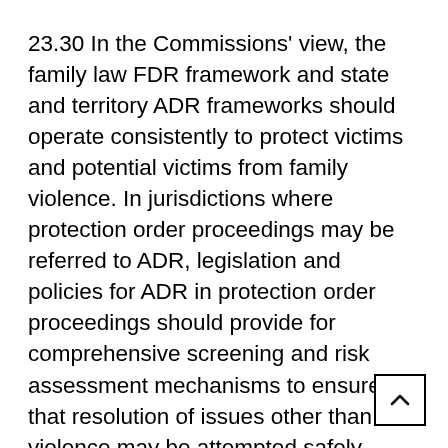23.30 In the Commissions' view, the family law FDR framework and state and territory ADR frameworks should operate consistently to protect victims and potential victims from family violence. In jurisdictions where protection order proceedings may be referred to ADR, legislation and policies for ADR in protection order proceedings should provide for comprehensive screening and risk assessment mechanisms to ensure that resolution of issues other than violence may be attempted safely